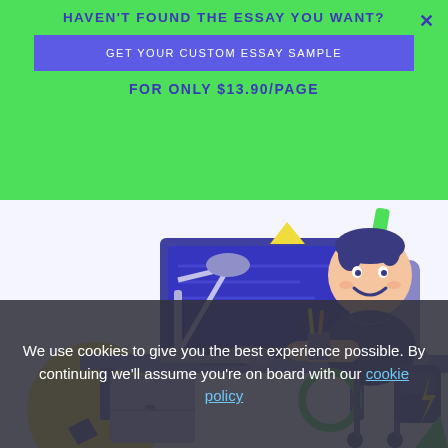HAVEN'T FOUND THE ESSAY YOU WANT?
GET YOUR CUSTOM ESSAY SAMPLE
FOR ONLY $13.90/PAGE
[Figure (illustration): Cartoon illustration of a smiling student sitting at a desk with a computer monitor, lamp, and school supplies in purple/blue tones. Yellow circle, green ring, and triangle decorative elements in background.]
We use cookies to give you the best experience possible. By continuing we'll assume you're on board with our cookie policy